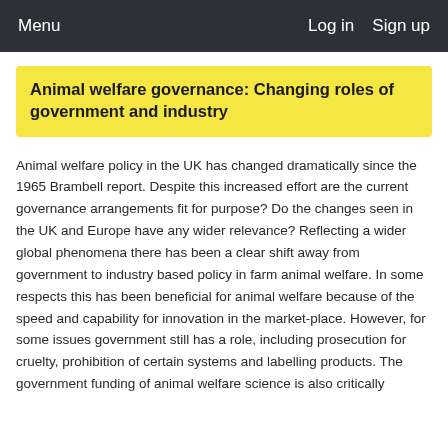Menu    Log in    Sign up
Animal welfare governance: Changing roles of government and industry
Animal welfare policy in the UK has changed dramatically since the 1965 Brambell report. Despite this increased effort are the current governance arrangements fit for purpose? Do the changes seen in the UK and Europe have any wider relevance? Reflecting a wider global phenomena there has been a clear shift away from government to industry based policy in farm animal welfare. In some respects this has been beneficial for animal welfare because of the speed and capability for innovation in the market-place. However, for some issues government still has a role, including prosecution for cruelty, prohibition of certain systems and labelling products. The government funding of animal welfare science is also critically